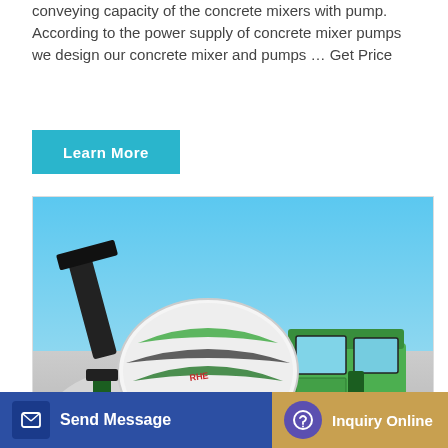conveying capacity of the concrete mixers with pump. According to the power supply of concrete mixer pumps we design our concrete mixer and pumps … Get Price
[Figure (other): A green self-loading concrete mixer truck (SANY SYGE371THR-30) photographed outdoors against a blue sky with gravel/rubble in the background. Chinese text '水箱' visible in the lower right of the image.]
SANY SYGE371THR-30 Truck ... ete P...